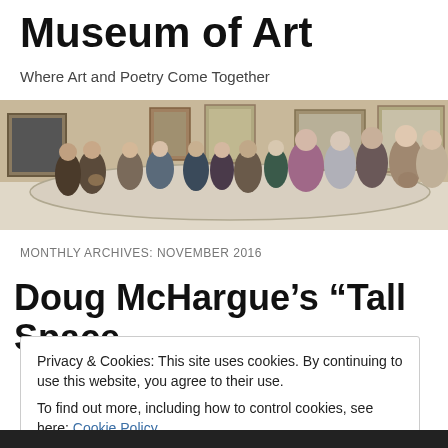Museum of Art
Where Art and Poetry Come Together
[Figure (photo): A crowd of museum visitors viewing artwork on gallery walls, seen from behind.]
MONTHLY ARCHIVES: NOVEMBER 2016
Doug McHargue’s “Tall Space
Privacy & Cookies: This site uses cookies. By continuing to use this website, you agree to their use.
To find out more, including how to control cookies, see here: Cookie Policy
[Close and accept]